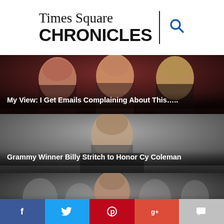Times Square CHRONICLES
[Figure (photo): Three women smiling at an event, colorful background]
My View: I Get Emails Complaining About This…..
[Figure (photo): Man with grey hair smiling, grey background]
Grammy Winner Billy Stritch to Honor Cy Coleman
[Figure (photo): Man on stage with black and white background montage]
New York Premiere of Kurt Peterson’s Memoir Concert Proud Ladies
[Figure (other): Social media share bar: Facebook, Twitter, Pinterest, Google+, Comments]